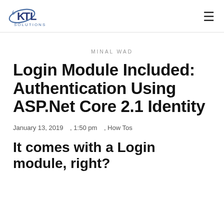KTL Solutions
MINAL WAD
Login Module Included: Authentication Using ASP.Net Core 2.1 Identity
January 13, 2019   , 1:50 pm   , How Tos
It comes with a Login module, right?